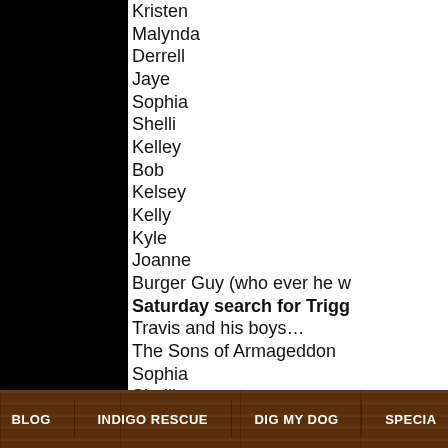[Figure (photo): Black area on left side of page, likely a dark image or photo]
Kristen
Malynda
Derrell
Jaye
Sophia
Shelli
Kelley
Bob
Kelsey
Kelly
Kyle
Joanne
Burger Guy (who ever he w
Saturday search for Trigg
Travis and his boys…
The Sons of Armageddon
Sophia
Shelli
BLOG | INDIGO RESCUE | DIG MY DOG | SPECIA